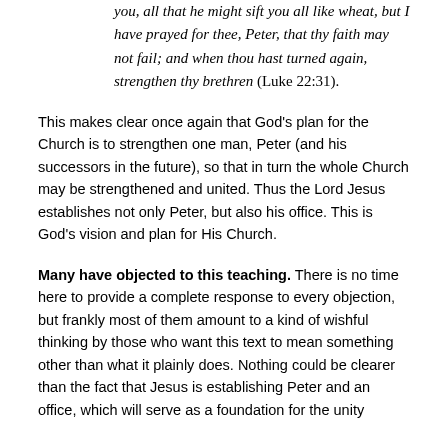you, all that he might sift you all like wheat, but I have prayed for thee, Peter, that thy faith may not fail; and when thou hast turned again, strengthen thy brethren (Luke 22:31).
This makes clear once again that God's plan for the Church is to strengthen one man, Peter (and his successors in the future), so that in turn the whole Church may be strengthened and united. Thus the Lord Jesus establishes not only Peter, but also his office. This is God's vision and plan for His Church.
Many have objected to this teaching. There is no time here to provide a complete response to every objection, but frankly most of them amount to a kind of wishful thinking by those who want this text to mean something other than what it plainly does. Nothing could be clearer than the fact that Jesus is establishing Peter and an office, which will serve as a foundation for the unity